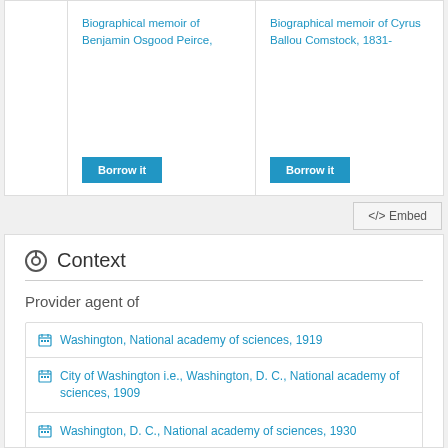Biographical memoir of Benjamin Osgood Peirce,
Biographical memoir of Cyrus Ballou Comstock, 1831-
Borrow it
Borrow it
</> Embed
Context
Provider agent of
Washington, National academy of sciences, 1919
City of Washington i.e., Washington, D. C., National academy of sciences, 1909
Washington, D. C., National academy of sciences, 1930